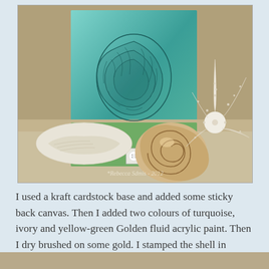[Figure (photo): A photo showing a handmade art card with a teal/turquoise background featuring a stamped seashell image, a ribbon and button embellishment. Beside the card are a spiral seashell and a white starfish, arranged on a sandy/kraft surface. Watermark reads 'Rebecca Sdmis - 2012'.]
I used a kraft cardstock base and added some sticky back canvas. Then I added two colours of turquoise, ivory and yellow-green Golden fluid acrylic paint. Then I dry brushed on some gold. I stamped the shell in Archival ink and added the ribbon and button when dry.